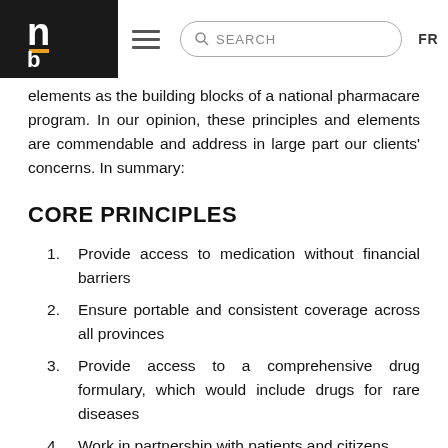nb [logo] SEARCH FR
elements as the building blocks of a national pharmacare program. In our opinion, these principles and elements are commendable and address in large part our clients' concerns. In summary:
CORE PRINCIPLES
Provide access to medication without financial barriers
Ensure portable and consistent coverage across all provinces
Provide access to a comprehensive drug formulary, which would include drugs for rare diseases
Work in partnership with patients and citizens
These first four elements address our first principle: access. All Canadians should have access to basic drug insurance covering at least all health conditions. The notion of rare diseases is also included, for which we